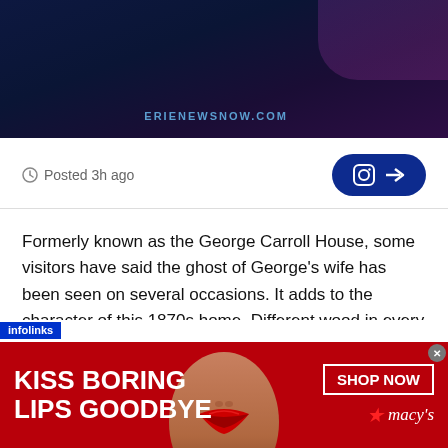[Figure (screenshot): Dark purple/blue banner with ERIENEWSNOW.COM text in the center bottom area]
Posted 3h ago
[Figure (logo): Instagram icon with arrow button (dark blue rounded rectangle)]
Formerly known as the George Carroll House, some visitors have said the ghost of George's wife has been seen on several occasions. It adds to the character of this 1870s home. Different wood in every room, all original.
A former boarding house, now a life decision for a business owner being perfected everyday.
[Figure (infographic): Advertisement banner: KISS BORING LIPS GOODBYE with woman's face/lips in center, SHOP NOW and macy's logo on the right. Red background. infolinks label at top left.]